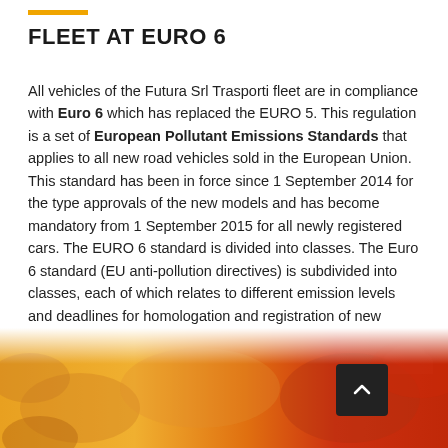FLEET AT EURO 6
All vehicles of the Futura Srl Trasporti fleet are in compliance with Euro 6 which has replaced the EURO 5. This regulation is a set of European Pollutant Emissions Standards that applies to all new road vehicles sold in the European Union. This standard has been in force since 1 September 2014 for the type approvals of the new models and has become mandatory from 1 September 2015 for all newly registered cars. The EURO 6 standard is divided into classes. The Euro 6 standard (EU anti-pollution directives) is subdivided into classes, each of which relates to different emission levels and deadlines for homologation and registration of new vehicles: EU6a, EU6b, EU6c, EU6d-temp, EU6d.
[Figure (photo): Orange and red heat map or pollution map image at the bottom of the page, partially visible, with a dark scroll-to-top button overlay]